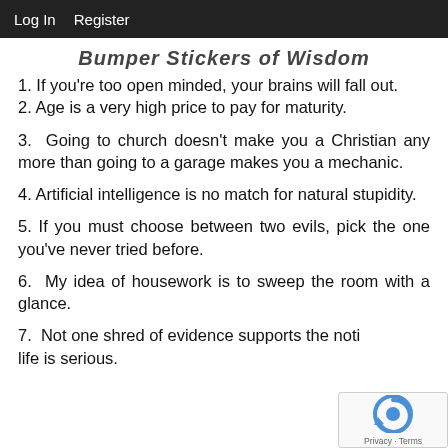Log In   Register
Bumper Stickers of Wisdom
1. If you're too open minded, your brains will fall out.
2. Age is a very high price to pay for maturity.
3. Going to church doesn't make you a Christian any more than going to a garage makes you a mechanic.
4. Artificial intelligence is no match for natural stupidity.
5. If you must choose between two evils, pick the one you've never tried before.
6. My idea of housework is to sweep the room with a glance.
7. Not one shred of evidence supports the notion that life is serious.